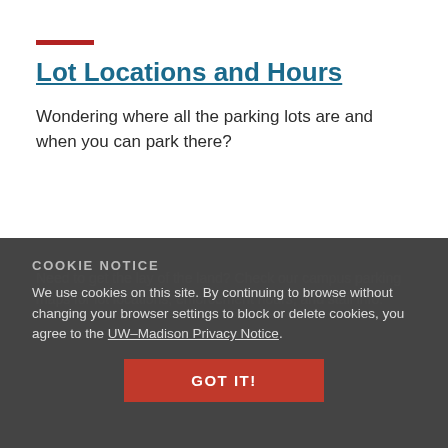Lot Locations and Hours
Wondering where all the parking lots are and when you can park there?
COOKIE NOTICE
We use cookies on this site. By continuing to browse without changing your browser settings to block or delete cookies, you agree to the UW–Madison Privacy Notice.
Need to get the lay of the land? Check our campus parking maps for lot locations, enforcement hours, and stall info.
GOT IT!